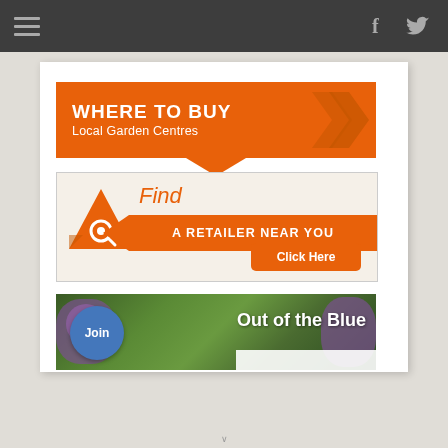Navigation bar with hamburger menu, Facebook and Twitter icons
[Figure (infographic): Orange banner reading WHERE TO BUY / Local Garden Centres with double chevron arrow decoration]
[Figure (infographic): Find a retailer near you banner with orange triangle search icon, banner ribbon text, and Click Here button]
[Figure (infographic): Out of the Blue newsletter signup banner with flower photo background, blue circle Join badge, and white text Out of the Blue]